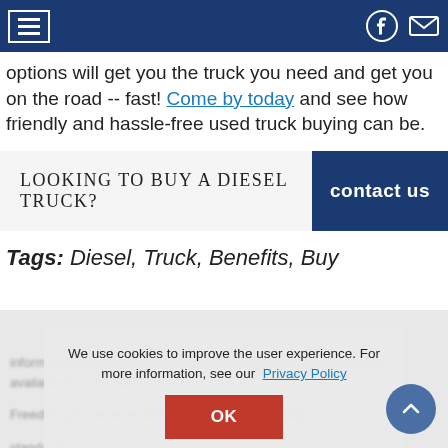Navigation bar with hamburger menu, Facebook icon, and email icon
options will get you the truck you need and get you on the road -- fast! Come by today and see how friendly and hassle-free used truck buying can be.
[Figure (infographic): CTA banner: 'LOOKING TO BUY A DIESEL TRUCK?' with a dark blue 'contact us' button on the right]
Tags: Diesel, Truck, Benefits, Buy
Cookie consent overlay: We use cookies to improve the user experience. For more information, see our Privacy Policy. OK button.